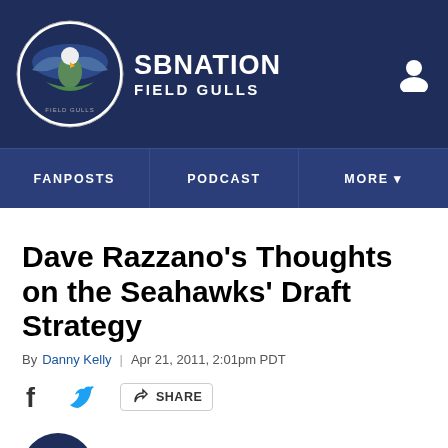SB NATION / FIELD GULLS
Dave Razzano's Thoughts on the Seahawks' Draft Strategy
By Danny Kelly | Apr 21, 2011, 2:01pm PDT
SHARE
Listen to this article